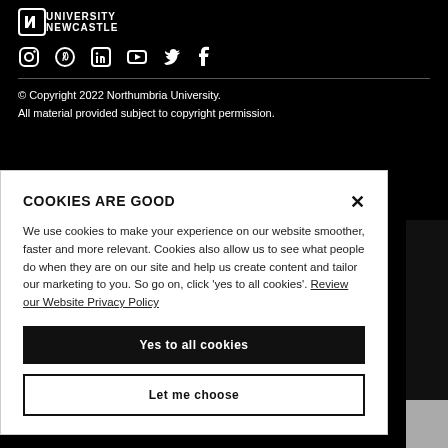[Figure (logo): Northumbria University Newcastle logo - shield icon with text]
[Figure (infographic): Social media icons: Instagram, Pinterest, LinkedIn, YouTube, Twitter, Facebook]
© Copyright 2022 Northumbria University.
All material provided subject to copyright permission.
COOKIES ARE GOOD
We use cookies to make your experience on our website smoother, faster and more relevant. Cookies also allow us to see what people do when they are on our site and help us create content and tailor our marketing to you. So go on, click 'yes to all cookies'. Review our Website Privacy Policy